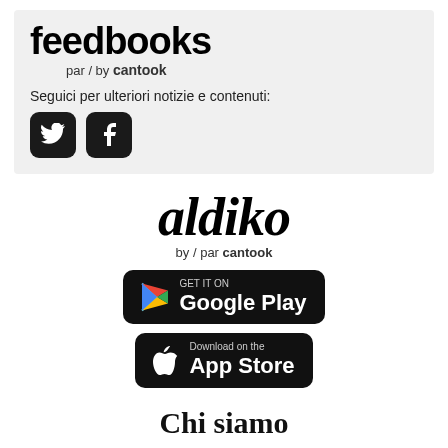[Figure (logo): Feedbooks par/by cantook logo with social media icons (Twitter and Facebook) and text 'Seguici per ulteriori notizie e contenuti:']
[Figure (logo): Aldiko by/par cantook logo]
[Figure (screenshot): GET IT ON Google Play store button]
[Figure (screenshot): Download on the App Store button]
Chi siamo